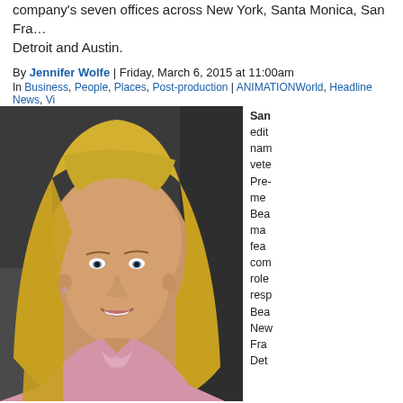company's seven offices across New York, Santa Monica, San Francisco, Detroit and Austin.
By Jennifer Wolfe | Friday, March 6, 2015 at 11:00am
In Business, People, Places, Post-production | ANIMATIONWorld, Headline News, VFX | Geographic Region: North America
[Figure (photo): Headshot of a blonde woman smiling, wearing a pink sleeveless top]
San... editing naming veteran Pre- ment Bea- many feature com- role resp Bea- New Fran- Det-